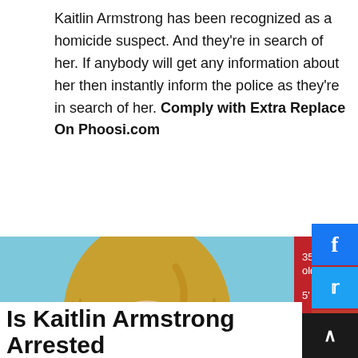Kaitlin Armstrong has been recognized as a homicide suspect. And they're in search of her. If anybody will get any information about her then instantly inform the police as they're in search of her. Comply with Extra Replace On Phoosi.com
[Figure (infographic): Wanted person infographic showing a photo of Kaitlin Armstrong on the left with a red info panel on the right listing: 35 years old, 5' 8", 125 lbs, Hazel eyes, Brown hair. Name bar reads KAITLIN ARMSTRONG. Social media share buttons (Facebook, Twitter, YouTube, Instagram) on far right.]
Is Kaitlin Armstrong Arrested?